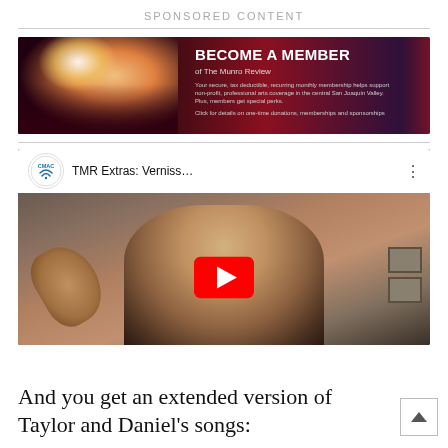SPONSORED CONTENT
[Figure (illustration): Banner advertisement: 'BECOME A MEMBER of The Munro Review' with a performer in colorful stage costume on the left, and text about recurring monthly membership supporting non-profit arts coverage in the central San Joaquin Valley, with mention of special perks and one-time donations, memberships and sponsorships.]
[Figure (screenshot): Embedded YouTube video player showing 'TMR Extras: Verniss...' with CMAC logo, featuring a woman with blonde hair, with YouTube play button overlay.]
And you get an extended version of Taylor and Daniel's songs: